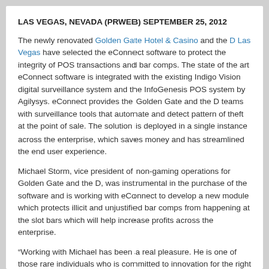LAS VEGAS, NEVADA (PRWEB) SEPTEMBER 25, 2012
The newly renovated Golden Gate Hotel & Casino and the D Las Vegas have selected the eConnect software to protect the integrity of POS transactions and bar comps. The state of the art eConnect software is integrated with the existing Indigo Vision digital surveillance system and the InfoGenesis POS system by Agilysys. eConnect provides the Golden Gate and the D teams with surveillance tools that automate and detect pattern of theft at the point of sale. The solution is deployed in a single instance across the enterprise, which saves money and has streamlined the end user experience.
Michael Storm, vice president of non-gaming operations for Golden Gate and the D, was instrumental in the purchase of the software and is working with eConnect to develop a new module which protects illicit and unjustified bar comps from happening at the slot bars which will help increase profits across the enterprise.
“Working with Michael has been a real pleasure. He is one of those rare individuals who is committed to innovation for the right reasons,” commented Henry Valentino, eConnect CEO. “He has a keen understanding of casino operations and business system capabilities which gives him an edge in problem solving